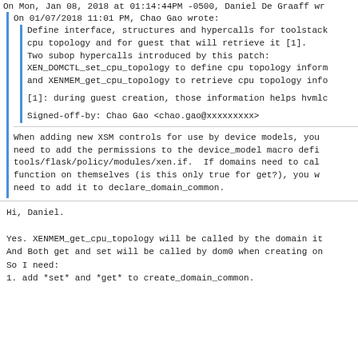On Mon, Jan 08, 2018 at 01:14:44PM -0500, Daniel De Graaff wr
On 01/07/2018 11:01 PM, Chao Gao wrote:
Define interface, structures and hypercalls for toolstack
cpu topology and for guest that will retrieve it [1].
Two subop hypercalls introduced by this patch:
XEN_DOMCTL_set_cpu_topology to define cpu topology inform
and XENMEM_get_cpu_topology to retrieve cpu topology info

[1]: during guest creation, those information helps hvmlc

Signed-off-by: Chao Gao <chao.gao@xxxxxxxxx>
When adding new XSM controls for use by device models, you
need to add the permissions to the device_model macro defi
tools/flask/policy/modules/xen.if.  If domains need to cal
function on themselves (is this only true for get?), you w
need to add it to declare_domain_common.
Hi, Daniel.

Yes. XENMEM_get_cpu_topology will be called by the domain it
And Both get and set will be called by dom0 when creating on
So I need:
1. add *set* and *get* to create_domain_common.